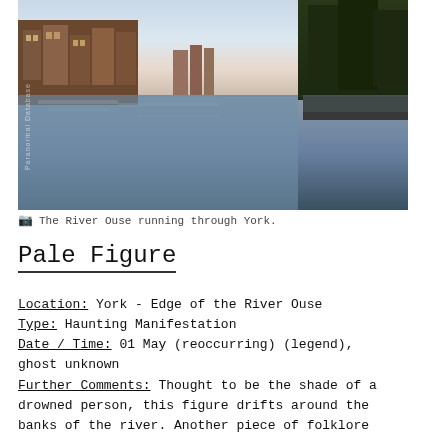[Figure (photo): A panoramic photograph of the River Ouse running through York. Historic brick buildings line the left bank, reflected in the calm water. Trees and a walkway are visible on the right. The sky shows soft pastel colours suggesting dawn or dusk.]
The River Ouse running through York.
Pale Figure
Location: York - Edge of the River Ouse
Type: Haunting Manifestation
Date / Time: 01 May (reoccurring) (legend), ghost unknown
Further Comments: Thought to be the shade of a drowned person, this figure drifts around the banks of the river. Another piece of folklore